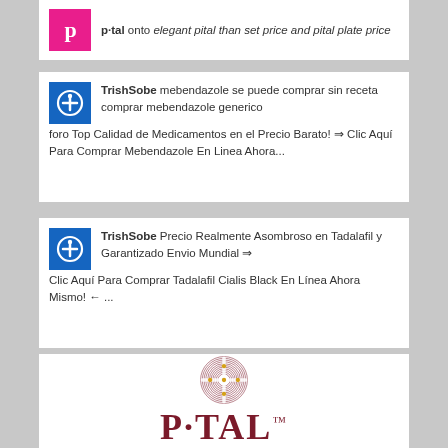p·tal onto elegant pital than set price and pital plate price
TrishSobe mebendazole se puede comprar sin receta comprar mebendazole generico foro Top Calidad de Medicamentos en el Precio Barato! ⇒ Clic Aquí Para Comprar Mebendazole En Linea Ahora...
TrishSobe Precio Realmente Asombroso en Tadalafil y Garantizado Envio Mundial ⇒ Clic Aquí Para Comprar Tadalafil Cialis Black En Línea Ahora Mismo! ← ...
[Figure (logo): P-TAL brand logo: circular interwoven ornamental design in dark red/maroon with gold dot accents, above the text P-TAL with trademark symbol]